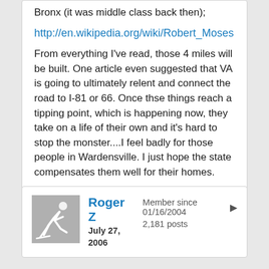Bronx (it was middle class back then);
http://en.wikipedia.org/wiki/Robert_Moses
From everything I've read, those 4 miles will be built. One article even suggested that VA is going to ultimately relent and connect the road to I-81 or 66. Once thse things reach a tipping point, which is happening now, they take on a life of their own and it's hard to stop the monster....I feel badly for those people in Wardensville. I just hope the state compensates them well for their homes.
Roger Z
July 27, 2006
Member since 01/16/2004
2,181 posts